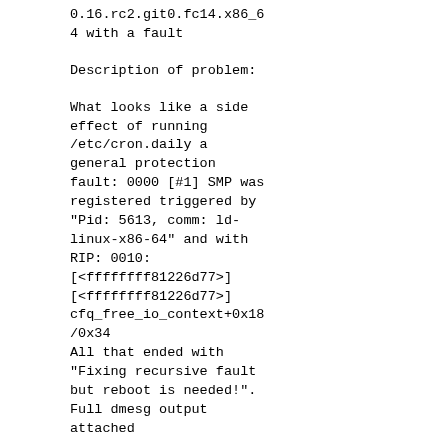0.16.rc2.git0.fc14.x86_64 with a fault
Description of problem:
What looks like a side effect of running /etc/cron.daily a general protection fault: 0000 [#1] SMP was registered triggered by "Pid: 5613, comm: ld-linux-x86-64" and with RIP: 0010:[<ffffffff81226d77>][<ffffffff81226d77>] cfq_free_io_context+0x18/0x34
All that ended with "Fixing recursive fault but reboot is needed!". Full dmesg output attached
Version-Release number of selected component (if applicable):
kernel-2.6.34-0.16.rc2.git0.fc14.x86_64